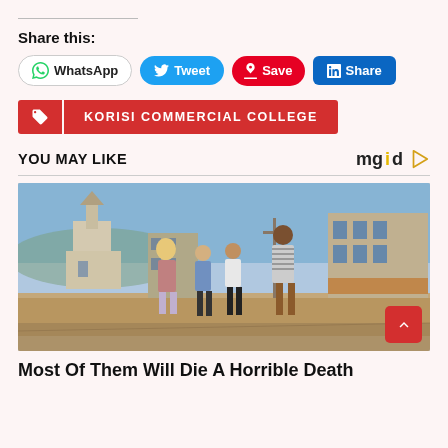Share this:
[Figure (other): Share buttons row: WhatsApp, Tweet, Save, Share]
KORISI COMMERCIAL COLLEGE
YOU MAY LIKE
[Figure (photo): Four people standing on an empty street with old-town buildings, looking upward. Scene appears to be from a TV show or film.]
Most Of Them Will Die A Horrible Death